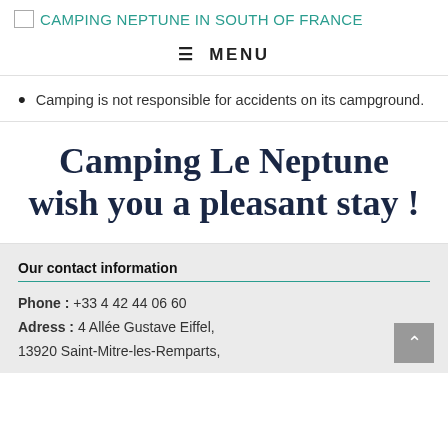CAMPING NEPTUNE IN SOUTH OF FRANCE
☰ MENU
Camping is not responsible for accidents on its campground.
Camping Le Neptune wish you a pleasant stay !
Our contact information
Phone : +33 4 42 44 06 60
Adress : 4 Allée Gustave Eiffel, 13920 Saint-Mitre-les-Remparts,